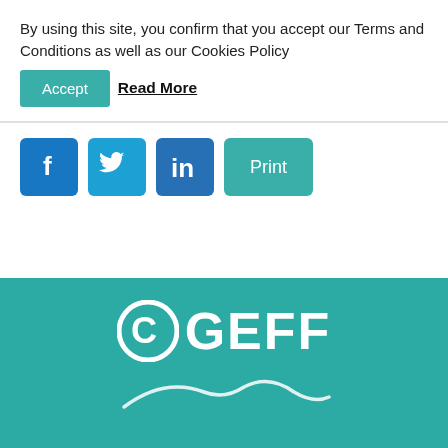By using this site, you confirm that you accept our Terms and Conditions as well as our Cookies Policy
Accept
Read More
[Figure (other): Social media share buttons: Facebook (blue), Twitter (blue), LinkedIn (blue), and a teal Print button]
[Figure (logo): GEFF logo in white on teal background with circular C icon, and partial EuroBank logo below]
GEFF